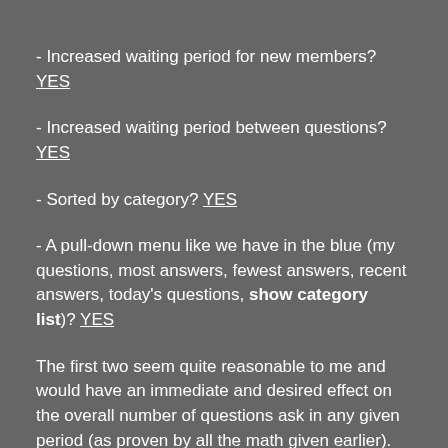- Increased waiting period for new members? YES
- Increased waiting period between questions? YES
- Sorted by category? YES
- A pull-down menu like we have in the blue (my questions, most answers, fewest answers, recent answers, today's questions, show category list)? YES
The first two seem quite reasonable to me and would have an immediate and desired effect on the overall number of questions ask in any given period (as proven by all the math given earlier).
The third suggestion just seems like a logical feature for something like AskMe... while the fourth is something I've